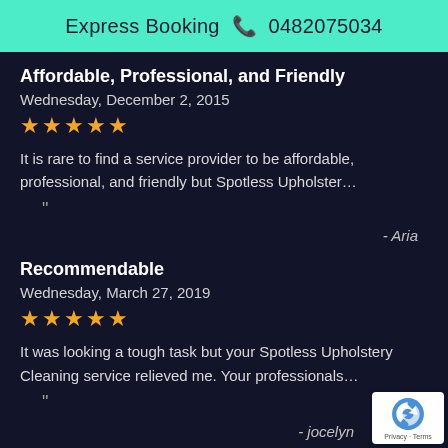Express Booking 0482075034
Affordable, Professional, and Friendly
Wednesday, December 2, 2015
★★★★★
It is rare to find a service provider to be affordable, professional, and friendly but Spotless Upholster…
- Aria
Recommendable
Wednesday, March 27, 2019
★★★★★
It was looking a tough task but your Spotless Upholstery Cleaning service relieved me. Your professionals…
- jocelyn